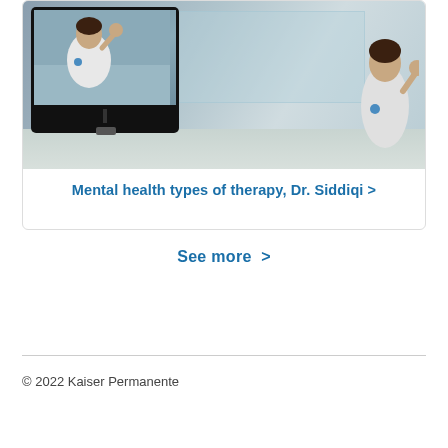[Figure (photo): A tablet/monitor on a stand displays a female doctor in a white lab coat gesturing with her hand. In the background, the same doctor (or similar) is seated in a modern hospital corridor wearing a white coat.]
Mental health types of therapy, Dr. Siddiqi >
See more >
© 2022 Kaiser Permanente